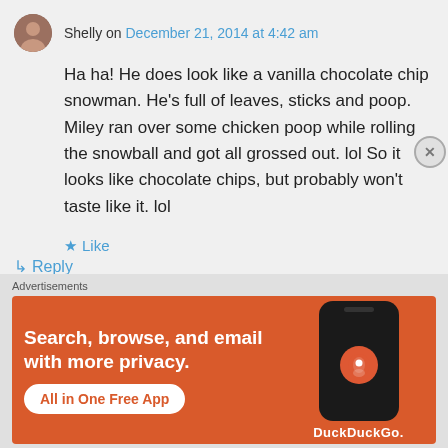Shelly on December 21, 2014 at 4:42 am
Ha ha! He does look like a vanilla chocolate chip snowman. He's full of leaves, sticks and poop. Miley ran over some chicken poop while rolling the snowball and got all grossed out. lol So it looks like chocolate chips, but probably won't taste like it. lol
★ Like
↳ Reply
Advertisements
[Figure (screenshot): DuckDuckGo advertisement banner with orange background. Text: 'Search, browse, and email with more privacy. All in One Free App' with phone mockup and DuckDuckGo logo/branding.]